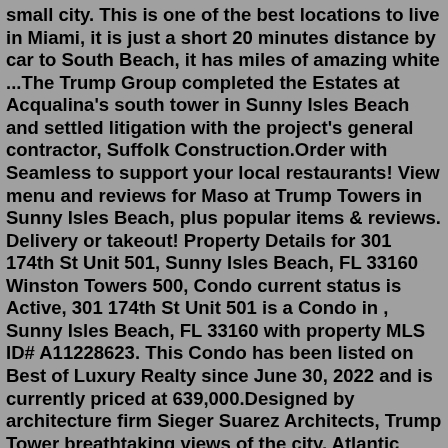small city. This is one of the best locations to live in Miami, it is just a short 20 minutes distance by car to South Beach, it has miles of amazing white ...The Trump Group completed the Estates at Acqualina's south tower in Sunny Isles Beach and settled litigation with the project's general contractor, Suffolk Construction.Order with Seamless to support your local restaurants! View menu and reviews for Maso at Trump Towers in Sunny Isles Beach, plus popular items & reviews. Delivery or takeout! Property Details for 301 174th St Unit 501, Sunny Isles Beach, FL 33160 Winston Towers 500, Condo current status is Active, 301 174th St Unit 501 is a Condo in , Sunny Isles Beach, FL 33160 with property MLS ID# A11228623. This Condo has been listed on Best of Luxury Realty since June 30, 2022 and is currently priced at 639,000.Designed by architecture firm Sieger Suarez Architects, Trump Tower breathtaking views of the city, Atlantic Ocean, and Intracoastal waterways. Call Us +1 (305) 794-6588 330 Sunny Isles Blvd Unit 5-2304, Sunny Isles Beach, FL 33160 Email